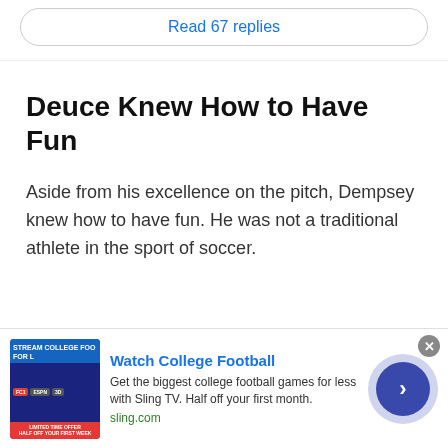Read 67 replies
Deuce Knew How to Have Fun
Aside from his excellence on the pitch, Dempsey knew how to have fun. He was not a traditional athlete in the sport of soccer.
[Figure (infographic): Advertisement banner for Sling TV - Watch College Football. Shows a Sling TV streaming interface image on the left, ad text in center, and a blue arrow button on the right with a close button.]